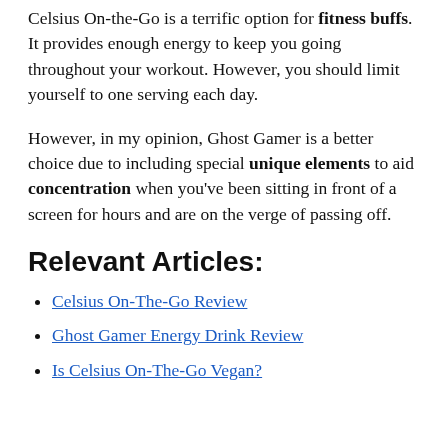Celsius On-the-Go is a terrific option for fitness buffs. It provides enough energy to keep you going throughout your workout. However, you should limit yourself to one serving each day.
However, in my opinion, Ghost Gamer is a better choice due to including special unique elements to aid concentration when you've been sitting in front of a screen for hours and are on the verge of passing off.
Relevant Articles:
Celsius On-The-Go Review
Ghost Gamer Energy Drink Review
Is Celsius On-The-Go Vegan?